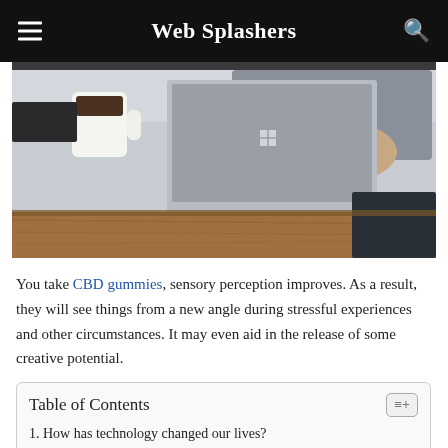Web Splashers
[Figure (photo): Person with Microsoft Surface tablet on a wooden desk, with a white mug in the background]
You take CBD gummies, sensory perception improves. As a result, they will see things from a new angle during stressful experiences and other circumstances. It may even aid in the release of some creative potential.
Table of Contents
1. How has technology changed our lives?